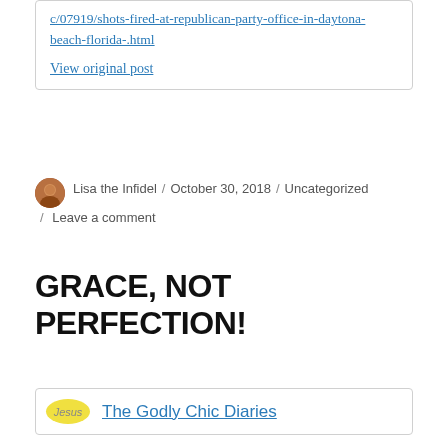c/07919/shots-fired-at-republican-party-office-in-daytona-beach-florida-.html
View original post
Lisa the Infidel / October 30, 2018 / Uncategorized / Leave a comment
GRACE, NOT PERFECTION!
The Godly Chic Diaries